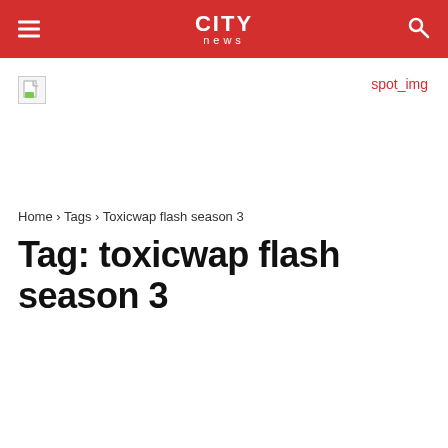CITY news
[Figure (other): Broken image placeholder (small document icon) on left, red 'spot_img' text on right]
Home › Tags › Toxicwap flash season 3
Tag: toxicwap flash season 3